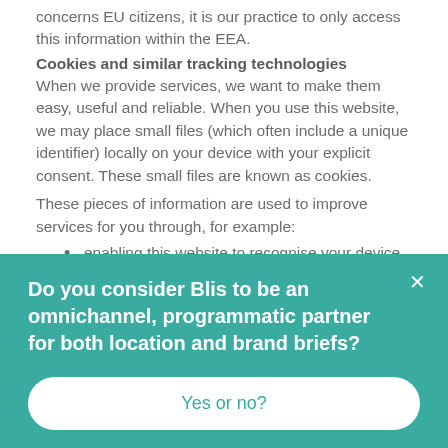concerns EU citizens, it is our practice to only access this information within the EEA.
Cookies and similar tracking technologies
When we provide services, we want to make them easy, useful and reliable. When you use this website, we may place small files (which often include a unique identifier) locally on your device with your explicit consent. These small files are known as cookies.
These pieces of information are used to improve services for you through, for example:
enabling this website to recognise your device so you don't have to give the same information and time and time and time...
Do you consider Blis to be an omnichannel, programmatic partner for both location and brand briefs?
Yes or no?